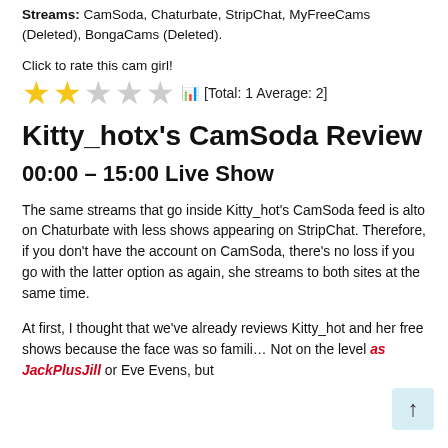Streams: CamSoda, Chaturbate, StripChat, MyFreeCams (Deleted), BongaCams (Deleted).
Click to rate this cam girl!
[Total: 1 Average: 2]
Kitty_hotx's CamSoda Review
00:00 – 15:00 Live Show
The same streams that go inside Kitty_hot's CamSoda feed is alto on Chaturbate with less shows appearing on StripChat. Therefore, if you don't have the account on CamSoda, there's no loss if you go with the latter option as again, she streams to both sites at the same time.
At first, I thought that we've already reviews Kitty_hot and her free shows because the face was so famili… Not on the level as JackPlusJill or Eve Evens, but